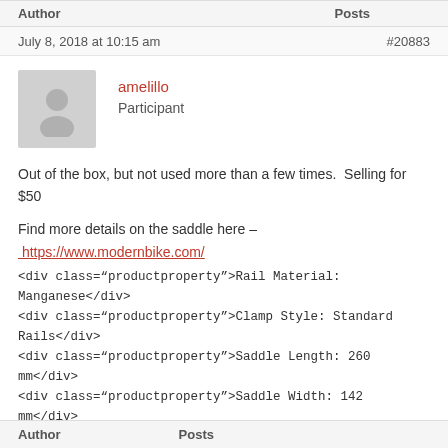Author    Posts
July 8, 2018 at 10:15 am    #20883
amelillo
Participant
Out of the box, but not used more than a few times.  Selling for $50

Find more details on the saddle here –
https://www.modernbike.com/
<div class="productproperty">Rail Material: Manganese</div>
<div class="productproperty">Clamp Style: Standard Rails</div>
<div class="productproperty">Saddle Length: 260 mm</div>
<div class="productproperty">Saddle Width: 142 mm</div>
<div class="productproperty">Color: Black</div>
<div class="productproperty">Weight: 228 g</div>
<div class="productproperty">Gender: For Women</div>
Author    Posts